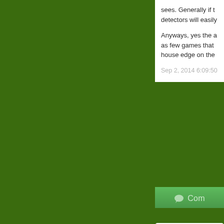sees. Generally if the detectors will easily
Anyways, yes the a as few games that house edge on the
Sep 2, 2014 6:09:50
Com
Tackling P
Whether you are a a real problem that rains, a leaking roo damage and mold. damage and mold sofa, dry wall, the h significant mold da must have an impa